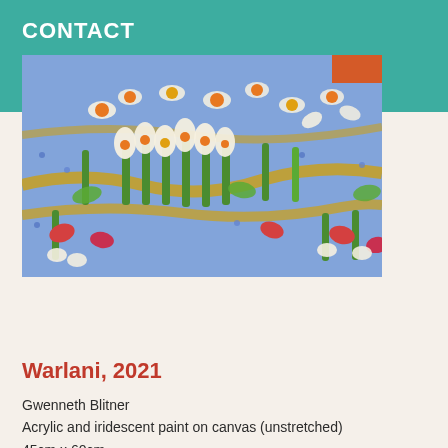CONTACT
[Figure (photo): Colorful Aboriginal-style painting showing flowers, leaves, and dotted patterns in blue, green, white, orange, and red on a vibrant background]
Warlani, 2021
Gwenneth Blitner
Acrylic and iridescent paint on canvas (unstretched)
45cm x 60cm